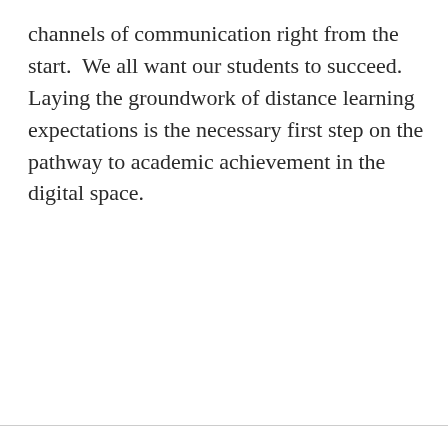channels of communication right from the start.  We all want our students to succeed. Laying the groundwork of distance learning expectations is the necessary first step on the pathway to academic achievement in the digital space.